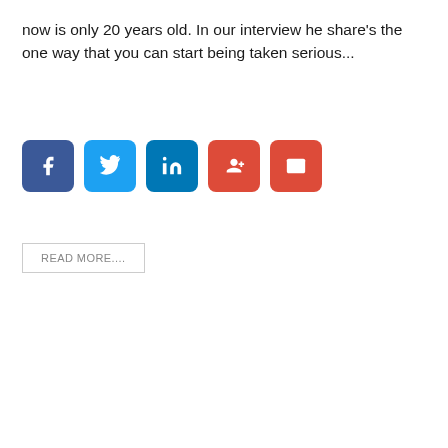now is only 20 years old. In our interview he share's the one way that you can start being taken serious...
[Figure (infographic): Row of five social media share buttons: Facebook (blue), Twitter (light blue), LinkedIn (dark blue), Google+ (red), Email (red)]
READ MORE....